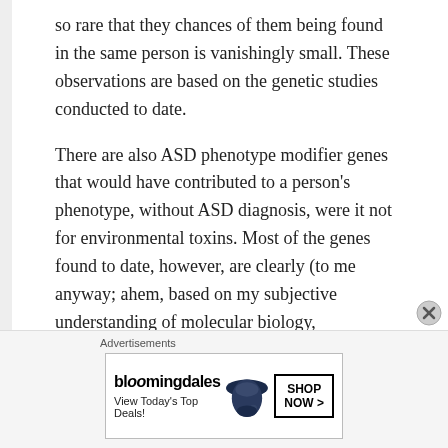so rare that they chances of them being found in the same person is vanishingly small. These observations are based on the genetic studies conducted to date.
There are also ASD phenotype modifier genes that would have contributed to a person's phenotype, without ASD diagnosis, were it not for environmental toxins. Most of the genes found to date, however, are clearly (to me anyway; ahem, based on my subjective understanding of molecular biology, genomics, pathways, etc...), environmental susceptibility loci.
[Figure (other): Bloomingdale's advertisement banner with logo, hat image, tagline 'View Today's Top Deals!' and 'SHOP NOW >' button]